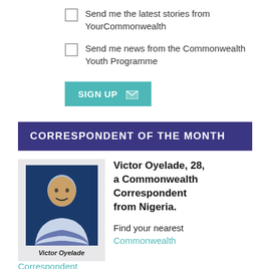Send me the latest stories from YourCommonwealth
Send me news from the Commonwealth Youth Programme
SIGN UP
CORRESPONDENT OF THE MONTH
[Figure (photo): Photo of Victor Oyelade, a young man in a striped blue and white rugby shirt, against a dark blue background. Caption reads: Victor Oyelade]
Victor Oyelade, 28, a Commonwealth Correspondent from Nigeria.
Find your nearest Commonwealth Correspondent